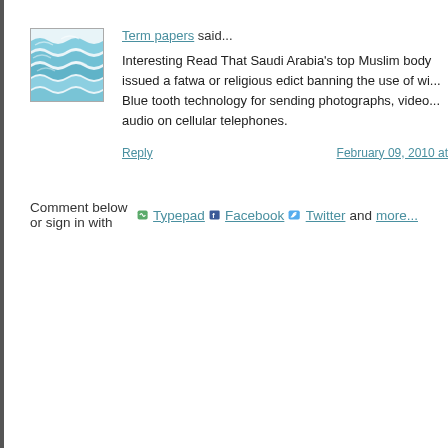[Figure (illustration): Avatar image with blue wavy water-like pattern on white background, bordered with thin gray line]
Term papers said...
Interesting Read That Saudi Arabia's top Muslim body issued a fatwa or religious edict banning the use of wi... Blue tooth technology for sending photographs, video... audio on cellular telephones.
Reply
February 09, 2010 at
Comment below or sign in with Typepad Facebook Twitter and more...